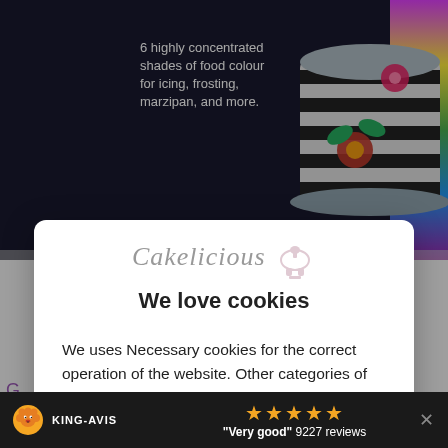[Figure (screenshot): Background screenshot of a baking/cake decorating product website showing a decorated striped cake with tropical flowers and text '6 highly concentrated shades of food colour for icing, frosting, marzipan, and more.']
[Figure (screenshot): Cookie consent modal dialog from Cakelicious website with logo, title 'We love cookies', body text, and three buttons: Customize, More info, Accept]
Cakelicious
We love cookies
We uses Necessary cookies for the correct operation of the website. Other categories of cookies may be used to personalize your experience, to distribute personalized commercial offers or to carry out analyses to optimize our offer. Your consent can be withdrawn at any time via the link in our data protection policy.
Customize | More info | Accept
KING-AVIS ★★★★★ "Very good" 9227 reviews